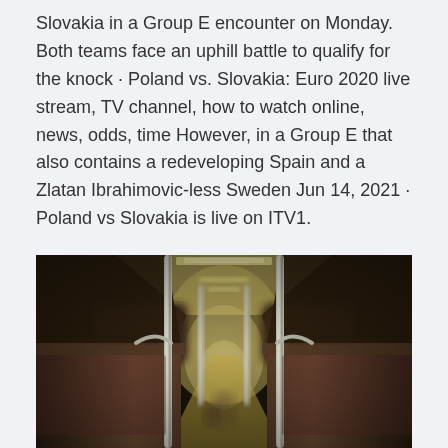Slovakia in a Group E encounter on Monday. Both teams face an uphill battle to qualify for the knock · Poland vs. Slovakia: Euro 2020 live stream, TV channel, how to watch online, news, odds, time However, in a Group E that also contains a redeveloping Spain and a Zlatan Ibrahimovic-less Sweden Jun 14, 2021 · Poland vs Slovakia is live on ITV1.
[Figure (photo): Interior of a bus or train showing rows of seats with chrome grab rails and warm yellow lighting in the background, depth of field blur effect]